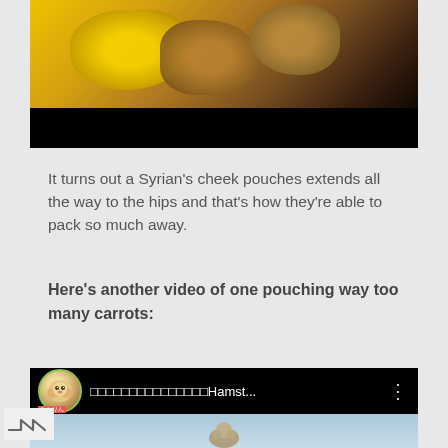[Figure (photo): Close-up photo of a hamster's cheek pouches stuffed with food, showing yellow and brown textured material, with a black bar at the bottom]
It turns out a Syrian's cheek pouches extends all the way to the hips and that's how they're able to pack so much away.
Here's another video of one pouching way too many carrots:
[Figure (screenshot): YouTube video thumbnail showing a hamster video titled with Japanese characters followed by 'Hamst...' with a circular hamster avatar and a hamster silhouette in the video preview]